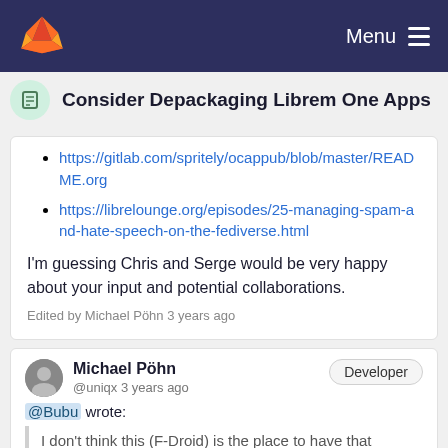Menu
Consider Depackaging Librem One Apps
https://gitlab.com/spritely/ocappub/blob/master/README.org
https://librelounge.org/episodes/25-managing-spam-and-hate-speech-on-the-fediverse.html
I'm guessing Chris and Serge would be very happy about your input and potential collaborations.
Edited by Michael Pöhn 3 years ago
Michael Pöhn @uniqx 3 years ago @Bubu wrote:
I don't think this (F-Droid) is the place to have that discussion, this seems like a relatively insignificant side-